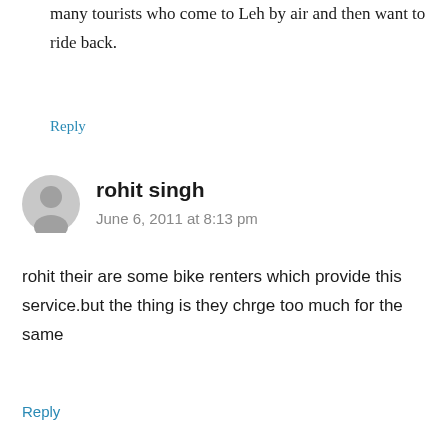many tourists who come to Leh by air and then want to ride back.
Reply
rohit singh
June 6, 2011 at 8:13 pm
rohit their are some bike renters which provide this service.but the thing is they chrge too much for the same
Reply